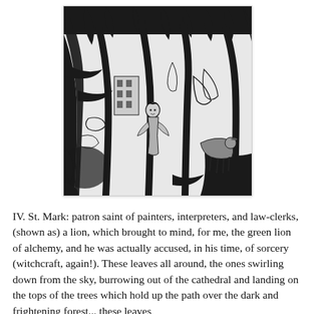[Figure (illustration): Black and white ink illustration depicting a forest scene with large twisting trees. In the center, a figure (a woman/person) is visible among the trees. Animals and abstract shapes weave through the composition. The style is dense and stylized with heavy black outlines on a white/light grey background.]
IV. St. Mark: patron saint of painters, interpreters, and law-clerks, (shown as) a lion, which brought to mind, for me, the green lion of alchemy, and he was actually accused, in his time, of sorcery (witchcraft, again!). These leaves all around, the ones swirling down from the sky, burrowing out of the cathedral and landing on the tops of the trees which hold up the path over the dark and frightening forest... these leaves